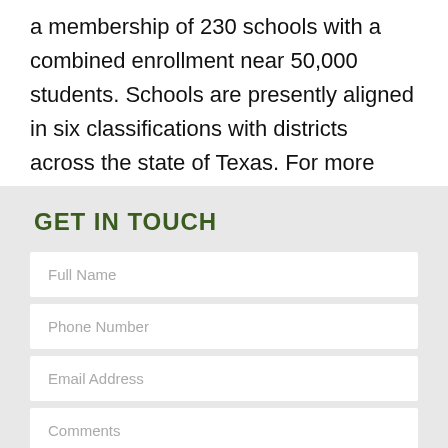a membership of 230 schools with a combined enrollment near 50,000 students. Schools are presently aligned in six classifications with districts across the state of Texas. For more information visit www.tapps.biz.
GET IN TOUCH
Full Name
Phone Number
Email Address
Comments